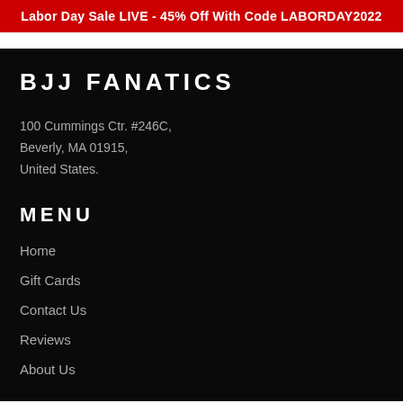Labor Day Sale LIVE - 45% Off With Code LABORDAY2022
BJJ FANATICS
100 Cummings Ctr. #246C,
Beverly, MA 01915,
United States.
MENU
Home
Gift Cards
Contact Us
Reviews
About Us